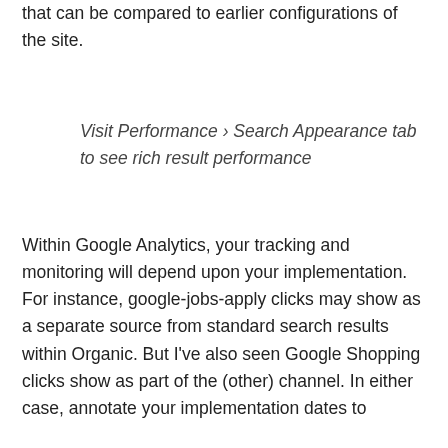that can be compared to earlier configurations of the site.
Visit Performance › Search Appearance tab to see rich result performance
Within Google Analytics, your tracking and monitoring will depend upon your implementation. For instance, google-jobs-apply clicks may show as a separate source from standard search results within Organic. But I've also seen Google Shopping clicks show as part of the (other) channel. In either case, annotate your implementation dates to